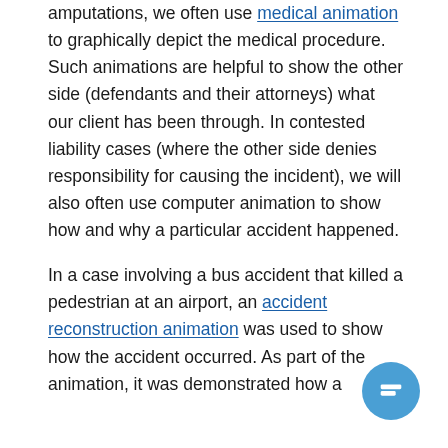amputations, we often use medical animation to graphically depict the medical procedure. Such animations are helpful to show the other side (defendants and their attorneys) what our client has been through. In contested liability cases (where the other side denies responsibility for causing the incident), we will also often use computer animation to show how and why a particular accident happened.
In a case involving a bus accident that killed a pedestrian at an airport, an accident reconstruction animation was used to show how the accident occurred. As part of the animation, it was demonstrated how a